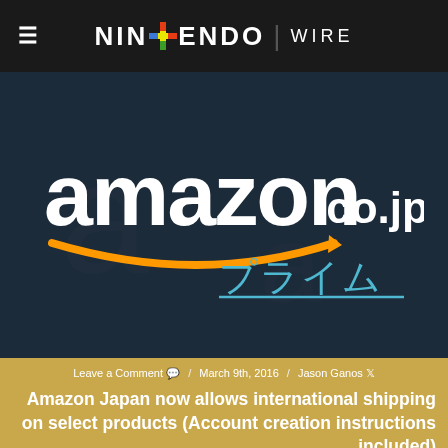Nintendo Wire
[Figure (logo): Amazon.co.jp Prime logo on dark navy background]
Leave a Comment / March 9th, 2016 / Jason Ganos
Amazon Japan now allows international shipping on select products (Account creation instructions included)
News